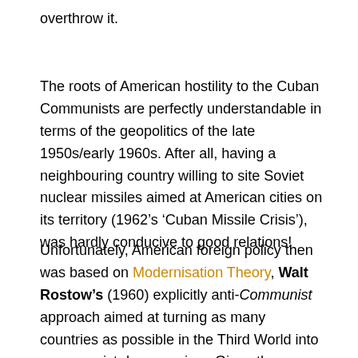overthrow it.
The roots of American hostility to the Cuban Communists are perfectly understandable in terms of the geopolitics of the late 1950s/early 1960s. After all, having a neighbouring country willing to site Soviet nuclear missiles aimed at American cities on its territory (1962’s ‘Cuban Missile Crisis’), was hardly conducive to good relations!
Unfortunately, American foreign policy then was based on Modernisation Theory, Walt Rostow’s (1960) explicitly anti-Communist approach aimed at turning as many countries as possible in the Third World into consumerist democracies. Given the determination of the Soviet Union and China to spread Communism throughout the developing countries, Capitalism needed to make a response. However, Modernisation Theory hasn’t worked in a single country it’s been applied to and is a key contributing factor to the huge international debts many